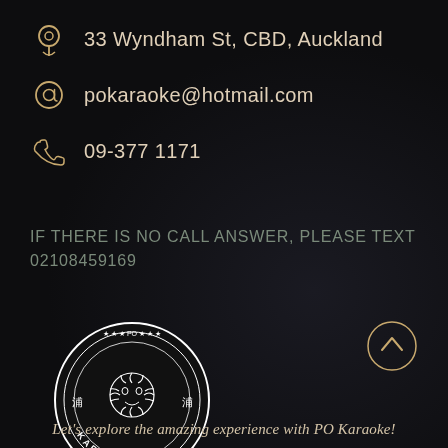33 Wyndham St, CBD, Auckland
pokaraoke@hotmail.com
09-377 1171
IF THERE IS NO CALL ANSWER, PLEASE TEXT 02108459169
[Figure (logo): PO Karaoke Bar circular logo with sun/face motif and Chinese characters, white on black]
Let's explore the amazing experience with PO Karaoke!